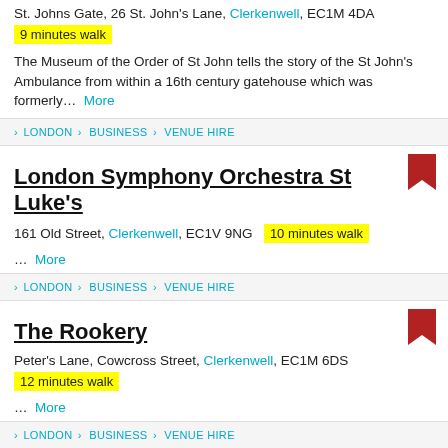St. Johns Gate, 26 St. John's Lane, Clerkenwell, EC1M 4DA
9 minutes walk
The Museum of the Order of St John tells the story of the St John's Ambulance from within a 16th century gatehouse which was formerly... More
› LONDON › BUSINESS › VENUE HIRE
London Symphony Orchestra St Luke's
161 Old Street, Clerkenwell, EC1V 9NG  10 minutes walk
... More
› LONDON › BUSINESS › VENUE HIRE
The Rookery
Peter's Lane, Cowcross Street, Clerkenwell, EC1M 6DS
12 minutes walk
... More
› LONDON › BUSINESS › VENUE HIRE